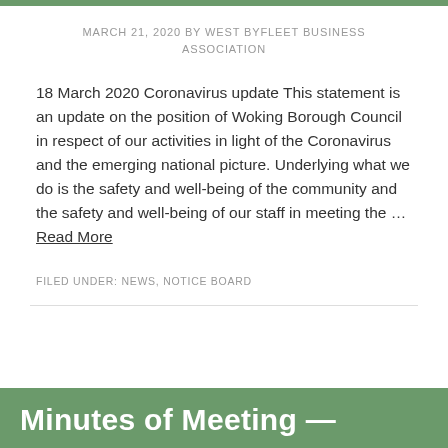MARCH 21, 2020 BY WEST BYFLEET BUSINESS ASSOCIATION
18 March 2020 Coronavirus update This statement is an update on the position of Woking Borough Council in respect of our activities in light of the Coronavirus and the emerging national picture. Underlying what we do is the safety and well-being of the community and the safety and well-being of our staff in meeting the … Read More
FILED UNDER: NEWS, NOTICE BOARD
Minutes of Meeting —